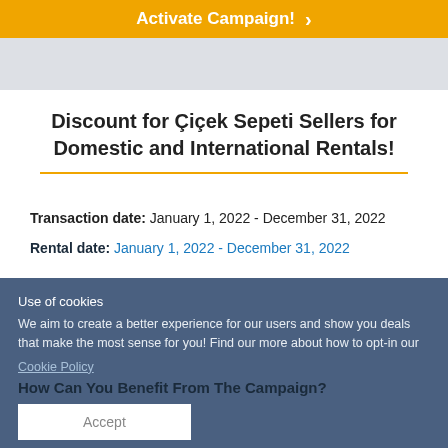Activate Campaign!
Discount for Çiçek Sepeti Sellers for Domestic and International Rentals!
Transaction date: January 1, 2022 - December 31, 2022
Rental date: January 1, 2022 - December 31, 2022
Use of cookies
We aim to create a better experience for our users and show you deals that make the most sense for you! Find our more about how to opt-in our
Cookie Policy
How Can You Benefit From The Campaign?
Accept